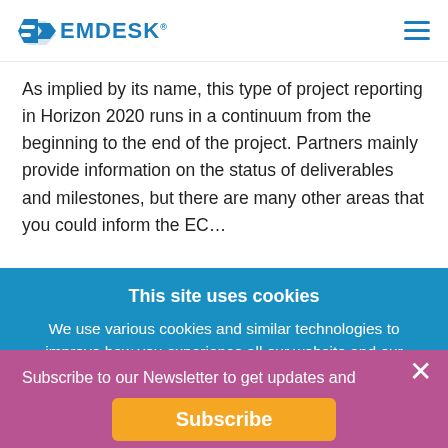EMDESK
As implied by its name, this type of project reporting in Horizon 2020 runs in a continuum from the beginning to the end of the project. Partners mainly provide information on the status of deliverables and milestones, but there are many other areas that you could inform the EC…
This site uses cookies
We use various cookies and similar technologies to improve how you experience all our website and our services. Read our Privacy Policy for more details about…
Subscribe to our Newsletter to get updates and expert insights straight to your mailbox.
Subscribe